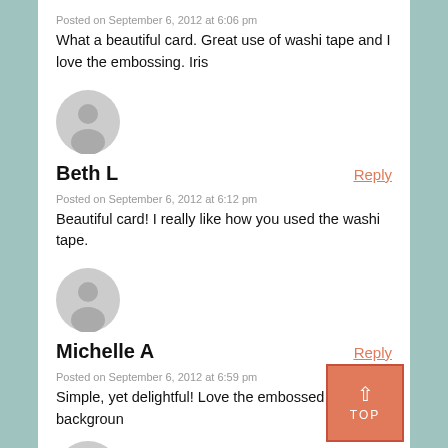Posted on September 6, 2012 at 6:06 pm
What a beautiful card. Great use of washi tape and I love the embossing. Iris
[Figure (illustration): Gray default user avatar icon (silhouette of person)]
Beth L
Reply
Posted on September 6, 2012 at 6:12 pm
Beautiful card! I really like how you used the washi tape.
[Figure (illustration): Gray default user avatar icon (silhouette of person)]
Michelle A
Reply
Posted on September 6, 2012 at 6:59 pm
Simple, yet delightful! Love the embossed backgroun
[Figure (illustration): Gray default user avatar icon (silhouette of person), partially visible at bottom]